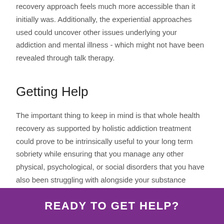recovery approach feels much more accessible than it initially was. Additionally, the experiential approaches used could uncover other issues underlying your addiction and mental illness - which might not have been revealed through talk therapy.
Getting Help
The important thing to keep in mind is that whole health recovery as supported by holistic addiction treatment could prove to be intrinsically useful to your long term sobriety while ensuring that you manage any other physical, psychological, or social disorders that you have also been struggling with alongside your substance abuse.
READY TO GET HELP?